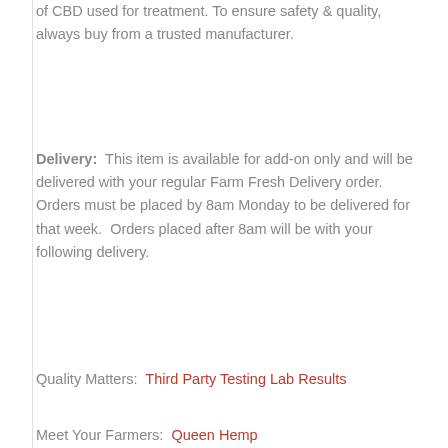of CBD used for treatment. To ensure safety & quality, always buy from a trusted manufacturer.
Delivery:  This item is available for add-on only and will be delivered with your regular Farm Fresh Delivery order. Orders must be placed by 8am Monday to be delivered for that week.  Orders placed after 8am will be with your following delivery.
Quality Matters:  Third Party Testing Lab Results
Meet Your Farmers:  Queen Hemp